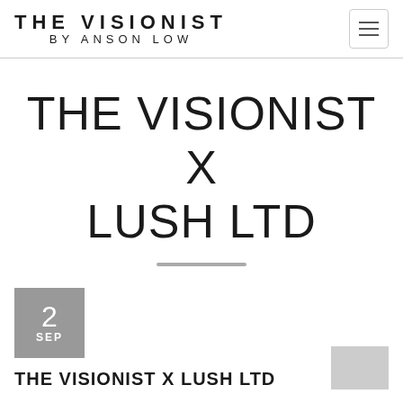THE VISIONIST BY ANSON LOW
THE VISIONIST X LUSH LTD
2 SEP
THE VISIONIST X LUSH LTD